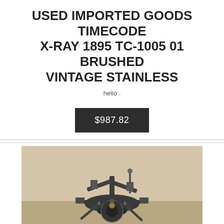USED IMPORTED GOODS TIMECODE X-RAY 1895 TC-1005 01 BRUSHED VINTAGE STAINLESS
hello .
$987.82
[Figure (photo): A vintage mechanical device or instrument with multiple arms and components, photographed on a concrete surface. The object appears to be a complex mechanical assembly with dark metal parts, possibly a carburetor, clockwork mechanism, or industrial tool from the early 20th century.]